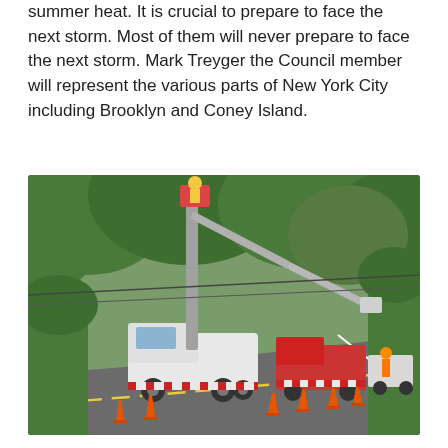summer heat. It is crucial to prepare to face the next storm. Most of them will never prepare to face the next storm. Mark Treyger the Council member will represent the various parts of New York City including Brooklyn and Coney Island.
[Figure (photo): Utility bucket trucks with workers in aerial lifts working on power lines along a tree-lined road. Orange traffic cones are placed on the road. Workers in safety vests visible. Multiple utility vehicles parked along the shoulder.]